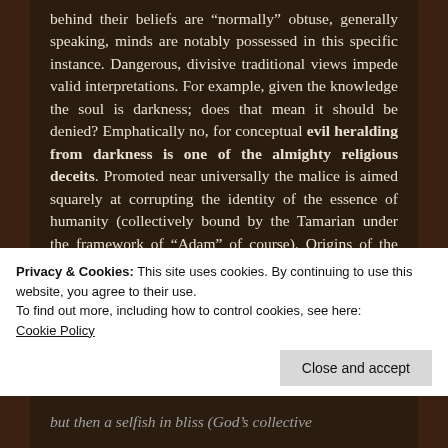behind their beliefs are “normally” obtuse, generally speaking, minds are notably possessed in this specific instance. Dangerous, divisive traditional views impede valid interpretations. For example, given the knowledge the soul is darkness; does that mean it should be denied? Emphatically no, for conceptual evil heralding from darkness is one of the almighty religious deceits. Promoted near universally the malice is aimed squarely at corrupting the identity of the essence of humanity (collectively bound by the Tamarian under the framework of “Adam” of course). Origins of the true fabrication of evil are all but forgotten. We need to hark back to
Privacy & Cookies: This site uses cookies. By continuing to use this website, you agree to their use.
To find out more, including how to control cookies, see here: Cookie Policy
but then a selfish in bliss (God’s collective